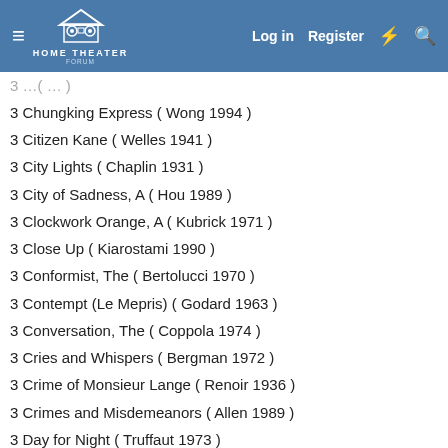HOME THEATER FORUM — Log in  Register
3 Chungking Express ( Wong 1994 )
3 Citizen Kane ( Welles 1941 )
3 City Lights ( Chaplin 1931 )
3 City of Sadness, A ( Hou 1989 )
3 Clockwork Orange, A ( Kubrick 1971 )
3 Close Up ( Kiarostami 1990 )
3 Conformist, The ( Bertolucci 1970 )
3 Contempt (Le Mepris) ( Godard 1963 )
3 Conversation, The ( Coppola 1974 )
3 Cries and Whispers ( Bergman 1972 )
3 Crime of Monsieur Lange ( Renoir 1936 )
3 Crimes and Misdemeanors ( Allen 1989 )
3 Day for Night ( Truffaut 1973 )
3 Days of Heaven ( Mallick 1978 )
3 Dekalog ( Kieslowski 1990 )
3 Discreet Charm of the Bourgeoisie, The ( Bunuel 1972 )
3 Do the Right Thing ( Lee 1989 )
3 Dolce Vita, La ( Fellini 1960 )